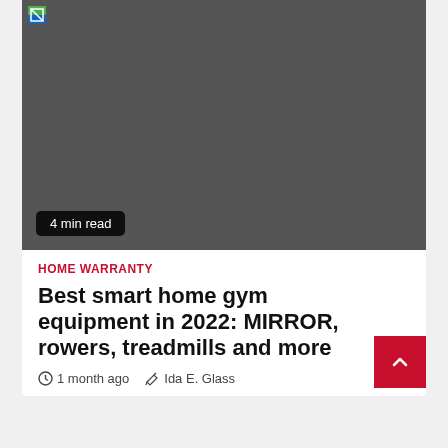[Figure (photo): Dark gray placeholder image (broken/unloaded image) with a small broken image icon in the top-left corner and a '4 min read' badge in the bottom-left corner.]
HOME WARRANTY
Best smart home gym equipment in 2022: MIRROR, rowers, treadmills and more
1 month ago   Ida E. Glass